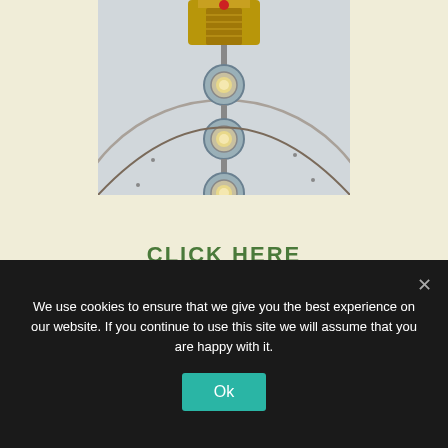[Figure (photo): Overhead/upward view of a ceiling fixture with a chandelier or decorative element at the top, and three circular recessed lights arranged vertically below it, against a domed or curved white ceiling surface.]
CLICK HERE
to register your interest for 2023
We use cookies to ensure that we give you the best experience on our website. If you continue to use this site we will assume that you are happy with it.